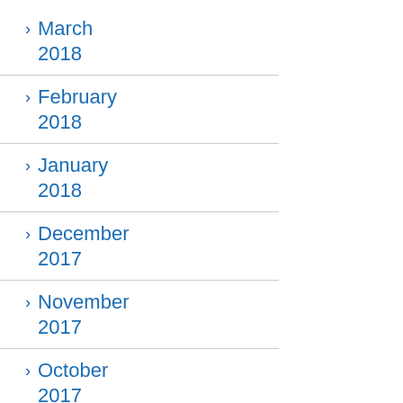March 2018
February 2018
January 2018
December 2017
November 2017
October 2017
September 2017
August